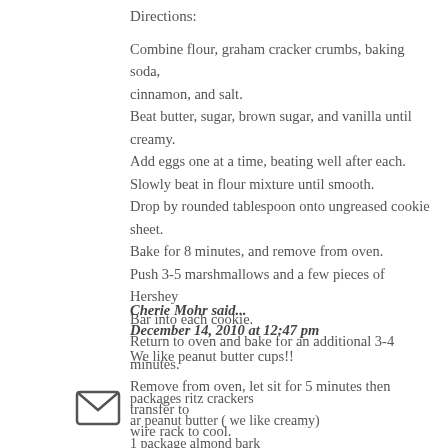Directions:
Combine flour, graham cracker crumbs, baking soda, cinnamon, and salt.
Beat butter, sugar, brown sugar, and vanilla until creamy.
Add eggs one at a time, beating well after each.
Slowly beat in flour mixture until smooth.
Drop by rounded tablespoon onto ungreased cookie sheet.
Bake for 8 minutes, and remove from oven.
Push 3-5 marshmallows and a few pieces of Hershey Bar into each cookie.
Return to oven and bake for an additional 3-4 minutes.
Remove from oven, let sit for 5 minutes then transfer to wire rack to cool.
Cherie Mohr said...
December 14, 2010 at 12:47 pm
We like peanut butter cups!!
packages ritz crackers
ar peanut butter ( we like creamy)
1 package almond bark